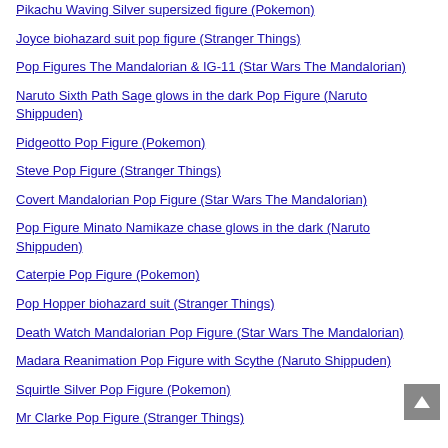Pikachu Waving Silver supersized figure (Pokemon)
Joyce biohazard suit pop figure (Stranger Things)
Pop Figures The Mandalorian & IG-11 (Star Wars The Mandalorian)
Naruto Sixth Path Sage glows in the dark Pop Figure (Naruto Shippuden)
Pidgeotto Pop Figure (Pokemon)
Steve Pop Figure (Stranger Things)
Covert Mandalorian Pop Figure (Star Wars The Mandalorian)
Pop Figure Minato Namikaze chase glows in the dark (Naruto Shippuden)
Caterpie Pop Figure (Pokemon)
Pop Hopper biohazard suit (Stranger Things)
Death Watch Mandalorian Pop Figure (Star Wars The Mandalorian)
Madara Reanimation Pop Figure with Scythe (Naruto Shippuden)
Squirtle Silver Pop Figure (Pokemon)
Mr Clarke Pop Figure (Stranger Things)